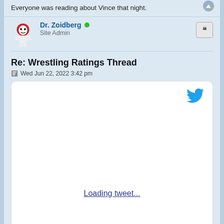Everyone was reading about Vince that night.
Dr. Zoidberg  Site Admin
Re: Wrestling Ratings Thread
Wed Jun 22, 2022 3:42 pm
[Figure (screenshot): Embedded tweet embed area showing 'Loading tweet...' link with Twitter bird icon]